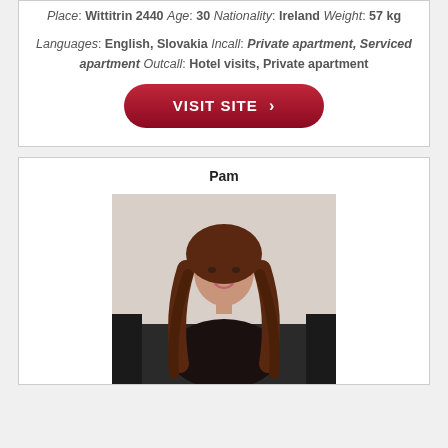Place: Wittitrin 2440 Age: 30 Nationality: Ireland Weight: 57 kg
Languages: English, Slovakia Incall: Private apartment, Serviced apartment Outcall: Hotel visits, Private apartment
[Figure (other): Red pill-shaped button with white bold text VISIT SITE and a right-pointing chevron arrow]
Pam
[Figure (photo): Photo of a young woman with long curly brown hair, wearing a black top, sitting on a dark couch, smiling at camera against a light background]